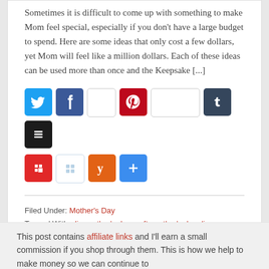Sometimes it is difficult to come up with something to make Mom feel special, especially if you don't have a large budget to spend. Here are some ideas that only cost a few dollars, yet Mom will feel like a million dollars. Each of these ideas can be used more than once and the Keepsake [...]
[Figure (infographic): Row of social media sharing buttons: Twitter (blue bird), Facebook (blue f), blank white button, Pinterest (red P), blank white button, Tumblr (dark navy t), Buffer (black stacked layers icon); second row: Flipboard (red f), Windows (light blue grid), Yummly (orange y), Share (blue plus)]
Filed Under: Mother's Day
Tagged With: diy, mother's day craft, mother's day diy, mother's day gifts, mother's day printables, mothers day, printables
This post contains affiliate links and I'll earn a small commission if you shop through them. This is how we help to make money so we can continue to